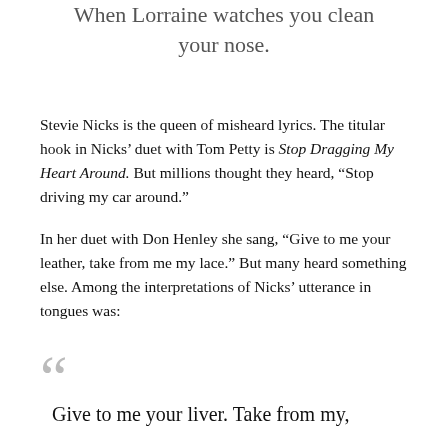When Lorraine watches you clean your nose.
Stevie Nicks is the queen of misheard lyrics. The titular hook in Nicks' duet with Tom Petty is Stop Dragging My Heart Around. But millions thought they heard, “Stop driving my car around.”
In her duet with Don Henley she sang, “Give to me your leather, take from me my lace.” But many heard something else. Among the interpretations of Nicks’ utterance in tongues was:
“Give to me your liver. Take from my,